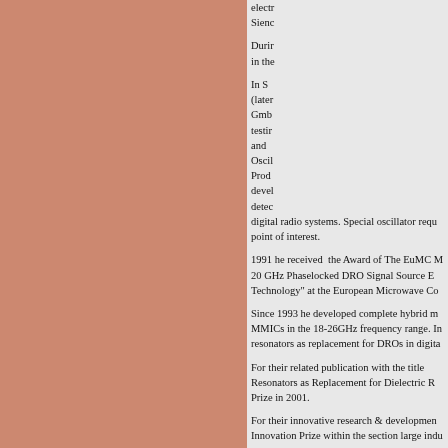electr... Sieno...
Durin... in the...
In S... (later... Gmb... testin... and ... Oscil... Prod... devel... detec... digital radio systems. Special oscillator requ... point of interest.
1991 he received the Award of The EuMC M... 20 GHz Phaselocked DRO Signal Source ... Technology" at the European Microwave Co...
Since 1993 he developed complete hybrid m... MMICs in the 18-26GHz frequency range. In... resonators as replacement for DROs in digita...
For their related publication with the title... Resonators as Replacement for Dielectric ... Prize in 2001.
For their innovative research & developmen... Innovation Prize within the section large indu...